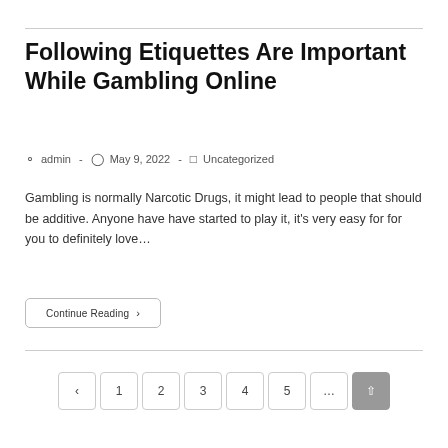Following Etiquettes Are Important While Gambling Online
admin · May 9, 2022 · Uncategorized
Gambling is normally Narcotic Drugs, it might lead to people that should be additive. Anyone have have started to play it, it's very easy for for you to definitely love…
Continue Reading ›
‹ 1 2 3 4 5 …